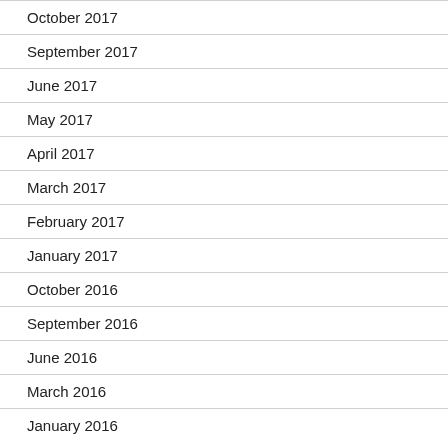October 2017
September 2017
June 2017
May 2017
April 2017
March 2017
February 2017
January 2017
October 2016
September 2016
June 2016
March 2016
January 2016